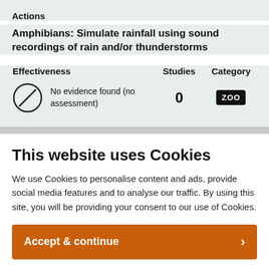Actions
Amphibians: Simulate rainfall using sound recordings of rain and/or thunderstorms
| Effectiveness | Studies | Category |
| --- | --- | --- |
| No evidence found (no assessment) | 0 | ZOO |
This website uses Cookies
We use Cookies to personalise content and ads, provide social media features and to analyse our traffic. By using this site, you will be providing your consent to our use of Cookies.
Accept & continue